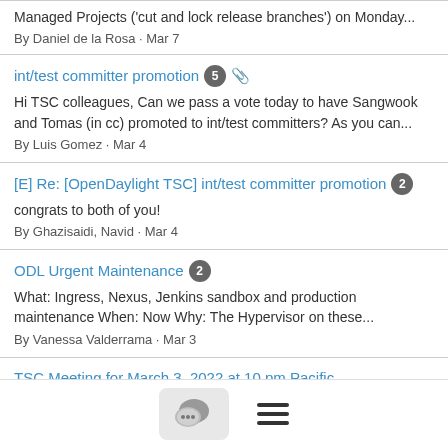Managed Projects ('cut and lock release branches') on Monday... By Daniel de la Rosa · Mar 7
int/test committer promotion 5 [attachment]
Hi TSC colleagues, Can we pass a vote today to have Sangwook and Tomas (in cc) promoted to int/test committers? As you can... By Luis Gomez · Mar 4
[E] Re: [OpenDaylight TSC] int/test committer promotion 2
congrats to both of you! By Ghazisaidi, Navid · Mar 4
ODL Urgent Maintenance 2
What: Ingress, Nexus, Jenkins sandbox and production maintenance When: Now Why: The Hypervisor on these... By Vanessa Valderrama · Mar 3
TSC Meeting for March 3, 2022 at 10 pm Pacific
Hello OpenDaylight Community, The next TSC meeting is March